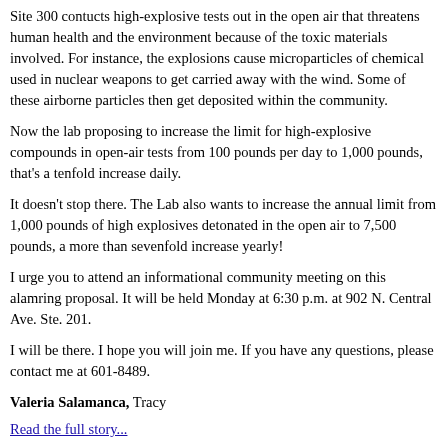Site 300 contucts high-explosive tests out in the open air that threatens human health and the environment because of the toxic materials involved. For instance, the explosions cause microparticles of chemical used in nuclear weapons to get carried away with the wind. Some of these airborne particles then get deposited within the community.
Now the lab proposing to increase the limit for high-explosive compounds in open-air tests from 100 pounds per day to 1,000 pounds, that's a tenfold increase daily.
It doesn't stop there. The Lab also wants to increase the annual limit from 1,000 pounds of high explosives detonated in the open air to 7,500 pounds, a more than sevenfold increase yearly!
I urge you to attend an informational community meeting on this alamring proposal. It will be held Monday at 6:30 p.m. at 902 N. Central Ave. Ste. 201.
I will be there. I hope you will join me. If you have any questions, please contact me at 601-8489.
Valeria Salamanca, Tracy
Read the full story...